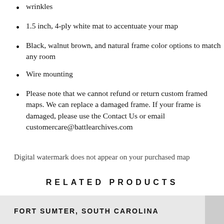wrinkles
1.5 inch, 4-ply white mat to accentuate your map
Black, walnut brown, and natural frame color options to match any room
Wire mounting
Please note that we cannot refund or return custom framed maps. We can replace a damaged frame. If your frame is damaged, please use the Contact Us or email customercare@battlearchives.com
Digital watermark does not appear on your purchased map
RELATED PRODUCTS
FORT SUMTER, SOUTH CAROLINA